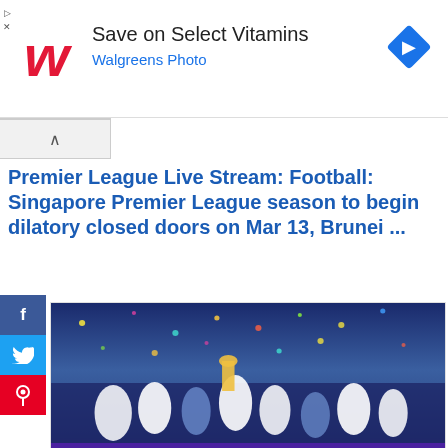[Figure (other): Walgreens advertisement banner: red cursive W logo, text 'Save on Select Vitamins' in large black text, 'Walgreens Photo' in blue below, blue diamond navigation icon on right]
Premier League Live Stream: Football: Singapore Premier League season to begin dilatory closed doors on Mar 13, Brunei ...
[Figure (photo): Football team celebrating championship win on pitch with confetti falling; banner reading 'CHAMPIONS' in white on purple/blue background at bottom]
2021-02-23 11:51:07
SINGAPORE: The 2021 season of the Singapore Premier League (SPL) entrust begin tardy closed doors with bracket begin correspondingly...